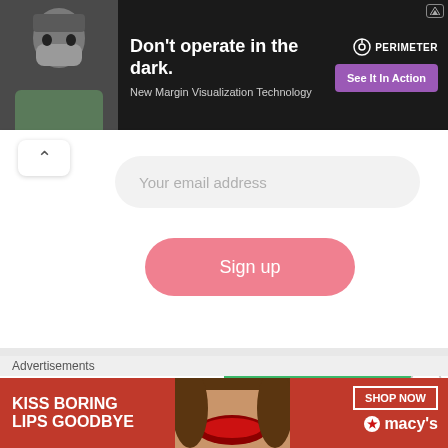[Figure (screenshot): Top advertisement banner: black background with doctor in mask on left, bold white text 'Don't operate in the dark.' and subtitle 'New Margin Visualization Technology', Perimeter logo top right, purple 'See It In Action' button]
[Figure (screenshot): Email signup form with upward chevron, 'Your email address' input field, and pink 'Sign up' button]
[Figure (logo): Taxify logo (yellow pin icon + bold text 'taxify') on left, Bolt logo (white bold text 'Bolt' on green background) on right, with X close button]
Advertisements
[Figure (screenshot): Macy's advertisement: red background with 'KISS BORING LIPS GOODBYE' text, woman's face with red lips, 'SHOP NOW' button, Macy's star logo]